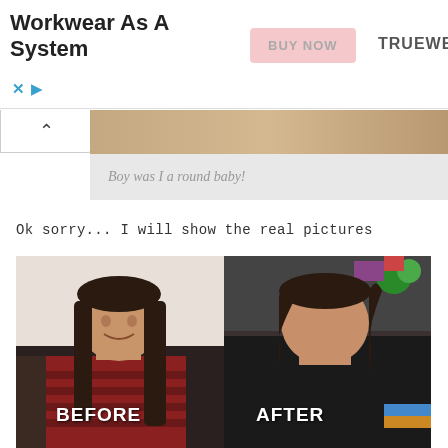[Figure (infographic): Advertisement banner for Truewerk workwear with 'Workkwear As A System' text, a pink 'BUY NOW' button, and TRUEWERK brand name. X and play controls at bottom left.]
[Figure (screenshot): Collapsed chat or blog element showing a tan/brown image strip at top and italic caption text 'Boy was I a round baby!' on gray background below.]
Ok sorry... I will show the real pictures
[Figure (photo): Side-by-side before and after photos of a young woman. Left side labeled BEFORE shows her with straight long brown hair in a red striped shirt on a dark couch. Right side labeled AFTER shows her with wavy brown hair in a black shirt with festive decorations in background.]